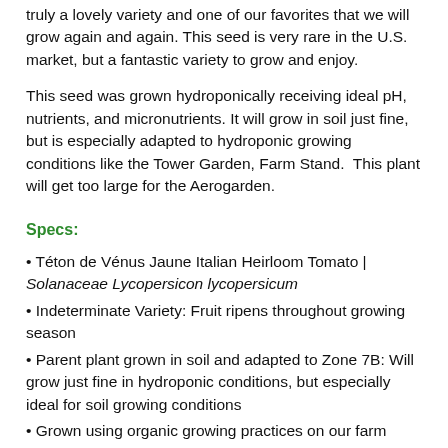truly a lovely variety and one of our favorites that we will grow again and again. This seed is very rare in the U.S. market, but a fantastic variety to grow and enjoy.
This seed was grown hydroponically receiving ideal pH, nutrients, and micronutrients. It will grow in soil just fine, but is especially adapted to hydroponic growing conditions like the Tower Garden, Farm Stand.  This plant will get too large for the Aerogarden.
Specs:
Téton de Vénus Jaune Italian Heirloom Tomato |  Solanaceae Lycopersicon lycopersicum
Indeterminate Variety: Fruit ripens throughout growing season
Parent plant grown in soil and adapted to Zone 7B: Will grow just fine in hydroponic conditions, but especially ideal for soil growing conditions
Grown using organic growing practices on our farm
Grow outside, full sun, during the warm season and support